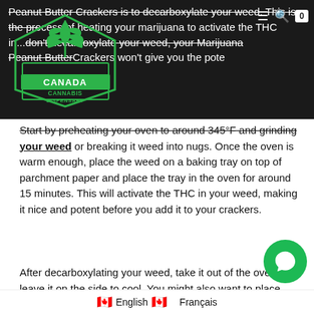Peanut Butter Crackers is to decarboxylate your weed. This is the process of heating your marijuana to activate the THC in... don't decarboxylate your weed, your Marijuana Peanut Butter Crackers won't give you the potent effects of...
[Figure (logo): Canada Cannabis Dispensary logo — green cannabis leaf above a shield/hexagon with text CANADA CANNABIS DISPENSARY]
Start by preheating your oven to around 345°F and grinding your weed or breaking it weed into nugs. Once the oven is warm enough, place the weed on a baking tray on top of parchment paper and place the tray in the oven for around 15 minutes. This will activate the THC in your weed, making it nice and potent before you add it to your crackers.
After decarboxylating your weed, take it out of the oven and leave it on the side to cool. You might also want to place your weed in a Mortar and Pestle and grind it into a powder. This will make it easier to add to your Peanut Butter Crackers. Now that you've decarbed your weed, you're ready to make Firecrackers.
🇨🇦 English 🇨🇦 Français